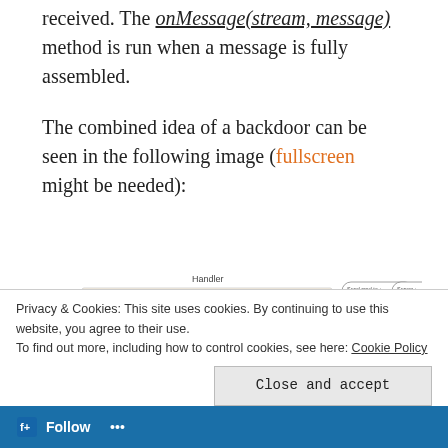default message when the last chunk of it is received. The onMessage(stream, message) method is run when a message is fully assembled.
The combined idea of a backdoor can be seen in the following image (fullscreen might be needed):
[Figure (engineering-diagram): Partial diagram showing a Handler component with an orange rectangle, a purple ellipse labeled 'listener', and an Agent component with rounded rectangle nodes connected by lines.]
Privacy & Cookies: This site uses cookies. By continuing to use this website, you agree to their use.
To find out more, including how to control cookies, see here: Cookie Policy
Follow ...